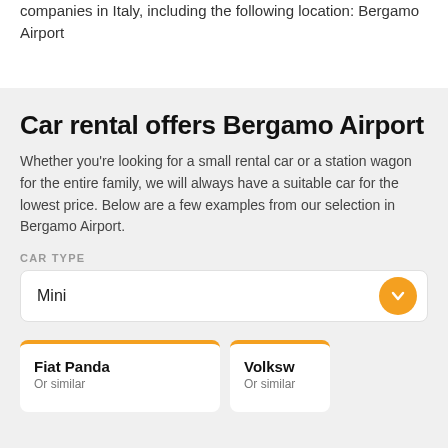companies in Italy, including the following location: Bergamo Airport
Car rental offers Bergamo Airport
Whether you're looking for a small rental car or a station wagon for the entire family, we will always have a suitable car for the lowest price. Below are a few examples from our selection in Bergamo Airport.
CAR TYPE
Mini
Fiat Panda
Or similar
Volksw…
Or similar